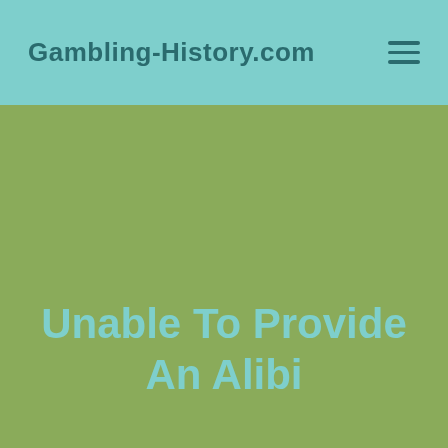Gambling-History.com
Unable To Provide An Alibi